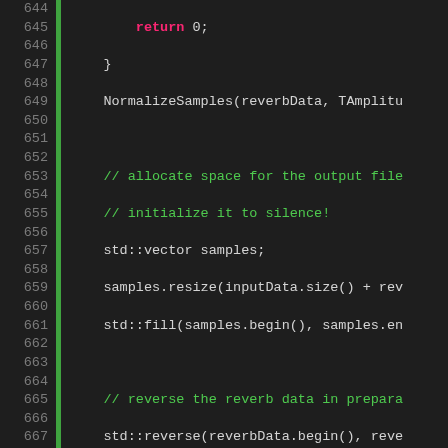[Figure (screenshot): C++ source code listing, lines 644-672, with syntax highlighting on dark background. Green vertical bar on left margin, line numbers in gray, keywords in cyan/blue, function names in magenta/pink, string literals in yellow, comments in green.]